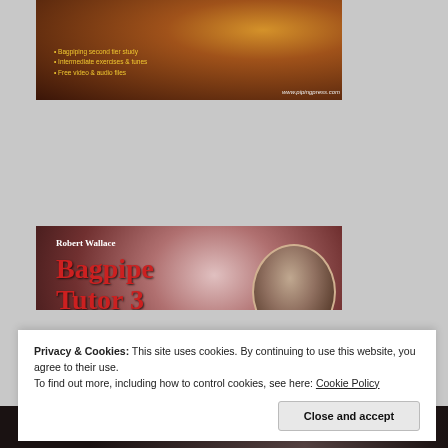[Figure (illustration): Top banner image with warm golden-brown landscape and text: Bagpiping second tier study, Intermediate exercises & tunes, Free video & audio files, www.pipingpress.com]
[Figure (illustration): Bagpipe Tutor 3 - Piobaireachd book cover by Robert Wallace. Red title text on dark sepia background with oval portrait of bagpiper. Bullets: Ceol mor for beginners, All the required technique, Free audio & video]
Privacy & Cookies: This site uses cookies. By continuing to use this website, you agree to their use.
To find out more, including how to control cookies, see here: Cookie Policy
Close and accept
The